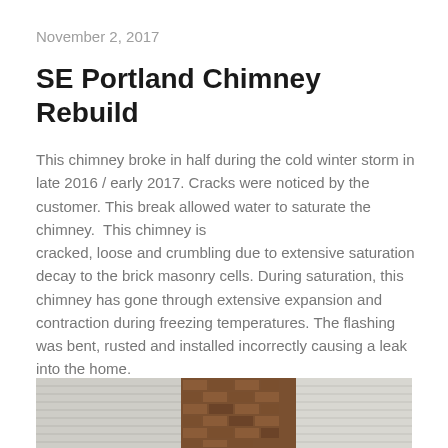November 2, 2017
SE Portland Chimney Rebuild
This chimney broke in half during the cold winter storm in late 2016 / early 2017. Cracks were noticed by the customer. This break allowed water to saturate the chimney.  This chimney is cracked, loose and crumbling due to extensive saturation decay to the brick masonry cells. During saturation, this chimney has gone through extensive expansion and contraction during freezing temperatures. The flashing was bent, rusted and installed incorrectly causing a leak into the home.
[Figure (photo): Photo of a brick chimney corner against horizontal siding panels, showing the chimney structure with dark bricks and surrounding white/grey siding.]